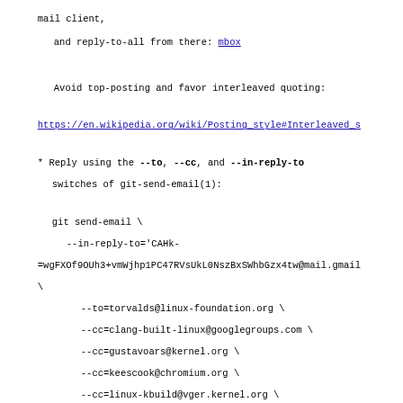mail client,
    and reply-to-all from there: mbox

  Avoid top-posting and favor interleaved quoting:
https://en.wikipedia.org/wiki/Posting_style#Interleaved_s
* Reply using the --to, --cc, and --in-reply-to switches of git-send-email(1):
git send-email \
    --in-reply-to='CAHk-=wgFXOf9OUh3+vmWjhp1PC47RVsUkL0NszBxSWhbGzx4tw@mail.gmail \

    --to=torvalds@linux-foundation.org \
    --cc=clang-built-linux@googlegroups.com \
    --cc=gustavoars@kernel.org \
    --cc=keescook@chromium.org \
    --cc=linux-kbuild@vger.kernel.org \
    --cc=linux-kernel@vger.kernel.org \
    --cc=masahiroy@kernel.org \
    --cc=nathan@kernel.org \
    --cc=ndesaulniers@google.com \
    --subject='Re: [PATCH] kbuild: Enable -Wimplicit-fallthrough for clang 14.0.0+' \
    /path/to/YOUR_REPLY
https://kernel.org/pub/software/scm/git/docs/git-send-email.html
* If your mail client supports setting the In-Reply-To